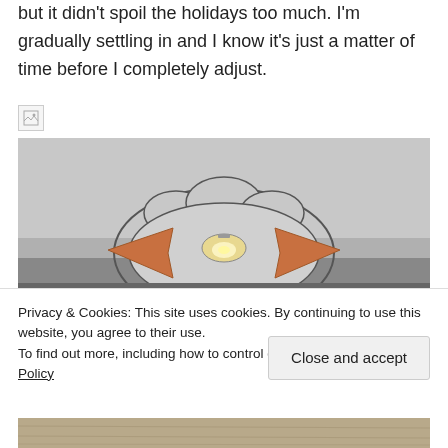but it didn't spoil the holidays too much. I'm gradually settling in and I know it's just a matter of time before I completely adjust.
[Figure (photo): A broken/missing image placeholder icon]
[Figure (photo): Interior photo showing a decorative fan-shaped wall mirror with wooden arrow accents and a light fixture, mounted on a light gray wall]
Privacy & Cookies: This site uses cookies. By continuing to use this website, you agree to their use.
To find out more, including how to control cookies, see here: Cookie Policy
Close and accept
[Figure (photo): Bottom portion of another photo, showing what appears to be a wooden surface or floor]